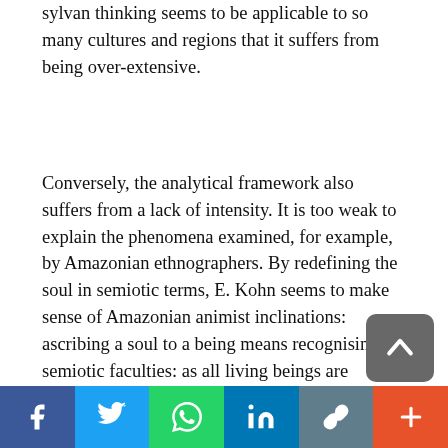sylvan thinking seems to be applicable to so many cultures and regions that it suffers from being over-extensive.
Conversely, the analytical framework also suffers from a lack of intensity. It is too weak to explain the phenomena examined, for example, by Amazonian ethnographers. By redefining the soul in semiotic terms, E. Kohn seems to make sense of Amazonian animist inclinations: ascribing a soul to a being means recognising its semiotic faculties: as all living beings are semiotic, it